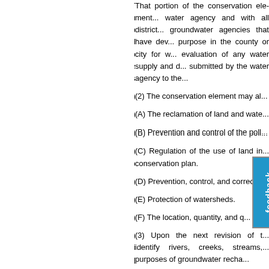That portion of the conservation element... water agency and with all district... groundwater agencies that have dev... purpose in the county or city for w... evaluation of any water supply and d... submitted by the water agency to the...
(2) The conservation element may al...
(A) The reclamation of land and wate...
(B) Prevention and control of the poll...
(C) Regulation of the use of land in... conservation plan.
(D) Prevention, control, and correctio...
(E) Protection of watersheds.
(F) The location, quantity, and q...
(3) Upon the next revision of t... identify rivers, creeks, streams,... purposes of groundwater recha...
(e) An open-space element as provid...